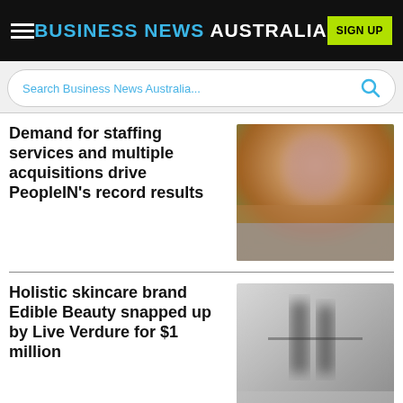BUSINESS NEWS AUSTRALIA
Search Business News Australia...
Demand for staffing services and multiple acquisitions drive PeopleIN's record results
[Figure (photo): Blurred portrait photo of a person, warm tones with orange/gold hues]
Holistic skincare brand Edible Beauty snapped up by Live Verdure for $1 million
[Figure (photo): Blurred grayscale/grey photo showing bottles or containers on a shelf]